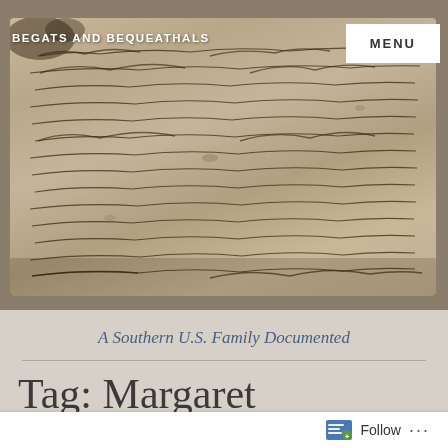BEGATS AND BEQUEATHALS
[Figure (photo): Aged handwritten manuscript/will document on yellowed parchment paper with cursive script, historical document photograph]
A Southern U.S. Family Documented
Tag: Margaret Beamon/Beaumont
Follow